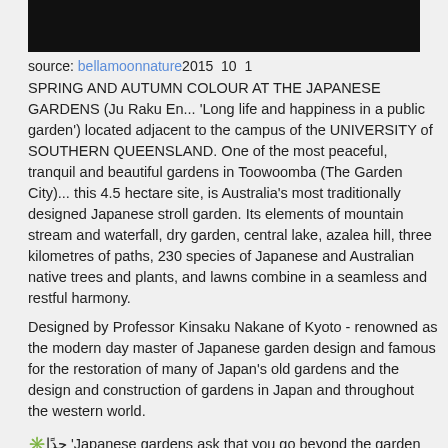[Figure (photo): Partial image at top, mostly black/dark area, appears to be a garden or nature photo cropped at top]
source: bellamoonnature2015 10 01 
SPRING AND AUTUMN COLOUR AT THE JAPANESE GARDENS (Ju Raku En... 'Long life and happiness in a public garden') located adjacent to the campus of the UNIVERSITY of SOUTHERN QUEENSLAND. One of the most peaceful, tranquil and beautiful gardens in Toowoomba (The Garden City)... this 4.5 hectare site, is Australia's most traditionally designed Japanese stroll garden. Its elements of mountain stream and waterfall, dry garden, central lake, azalea hill, three kilometres of paths, 230 species of Japanese and Australian native trees and plants, and lawns combine in a seamless and restful harmony.
Designed by Professor Kinsaku Nakane of Kyoto - renowned as the modern day master of Japanese garden design and famous for the restoration of many of Japan's old gardens and the design and construction of gardens in Japan and throughout the western world.
✳️جِداً 'Japanese gardens ask that you go beyond the garden spiritually, that you look at the garden not merely as